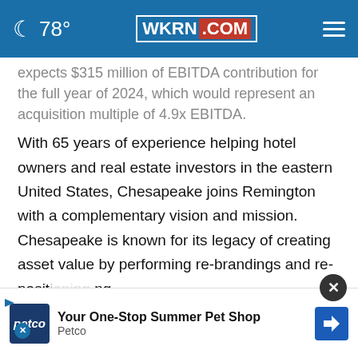78° WKRN.COM
expects $315 million of EBITDA contribution for the full year of 2024, which would represent an acquisition multiple of 4.9x EBITDA.
With 65 years of experience helping hotel owners and real estate investors in the eastern United States, Chesapeake joins Remington with a complementary vision and mission. Chesapeake is known for its legacy of creating asset value by performing re-brandings and re-positioning... ing clients... ough